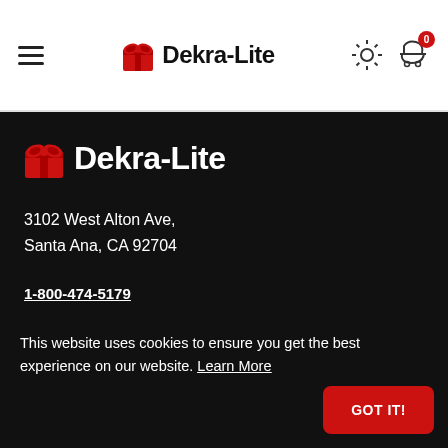Dekra-Lite
[Figure (logo): Dekra-Lite logo with red gift bow icon in dark footer section]
3102 West Alton Ave,
Santa Ana, CA 92704
1-800-474-5179
Info@Dekra-Lite.com
This website uses cookies to ensure you get the best experience on our website. Learn More